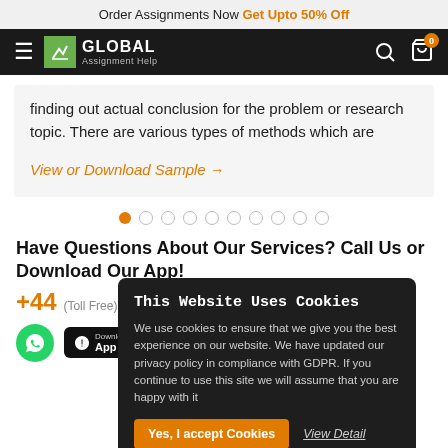Order Assignments Now Get Upto 50% Off
[Figure (logo): Global Assignment Help logo and navigation bar with hamburger menu, search icon and cart icon showing 0 items]
finding out actual conclusion for the problem or research topic. There are various types of methods which are
View or Download Sample →
[Figure (other): Carousel pagination dots: 10 dots with first one filled orange]
Have Questions About Our Services? Call Us or Download Our App!
+44 (Toll Free)
[Figure (other): Cookie consent popup: This Website Uses Cookies. We use cookies to ensure that we give you the best experience on our website. We have updated our privacy policy in compliance with GDPR. If you continue to use this site we will assume that you are happy with it. Yes, I accept Cookies | View Detail]
[Figure (other): WhatsApp icon circle and app store badges for Apple App Store and Google Play]